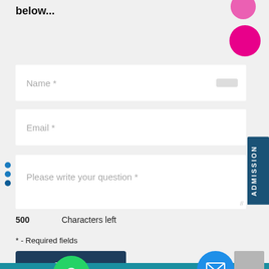below...
[Figure (illustration): Two pink circles decorative element top right]
Name *
Email *
Please write your question *
500    Characters left
* - Required fields
[Figure (illustration): Submit button with dark blue background and white text]
[Figure (illustration): WhatsApp green circle icon button]
[Figure (illustration): Email blue circle icon button]
ADMISSION